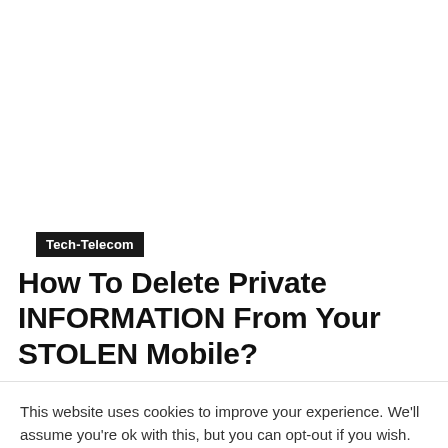Tech-Telecom
How To Delete Private INFORMATION From Your STOLEN Mobile?
This website uses cookies to improve your experience. We'll assume you're ok with this, but you can opt-out if you wish.
Do not sell my personal information.
Cookie Settings
Accept